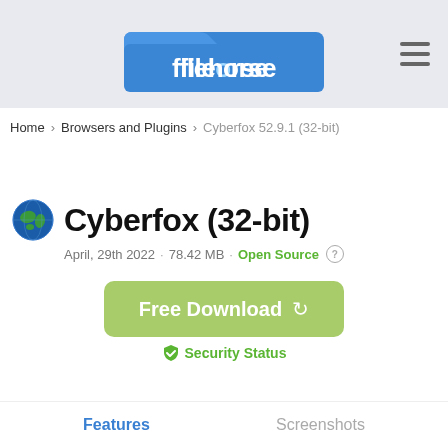[Figure (logo): Filehorse website logo: blue folder icon with 'filehorse' text in white]
Home > Browsers and Plugins > Cyberfox 52.9.1 (32-bit)
Cyberfox (32-bit)
April, 29th 2022  ·  78.42 MB  ·  Open Source
[Figure (other): Free Download button (green/olive rounded rectangle) with loading icon]
Security Status
Features
Screenshots